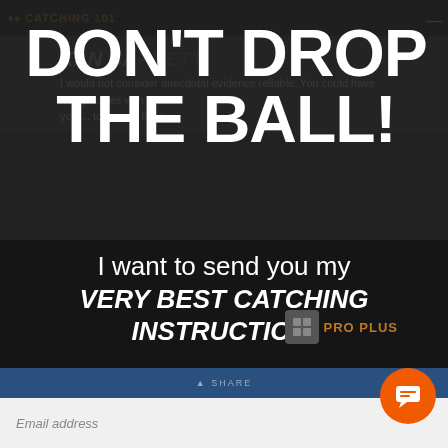CATCHING 101
DON'T DROP THE BALL!
XAN BA...
I would not consider anecdotal evidence reliable. You could have many issues with your...
I want to send you my VERY BEST CATCHING INSTRUCTION.
All you have to do is tell me where to send it...
PRO PLUS
Email address